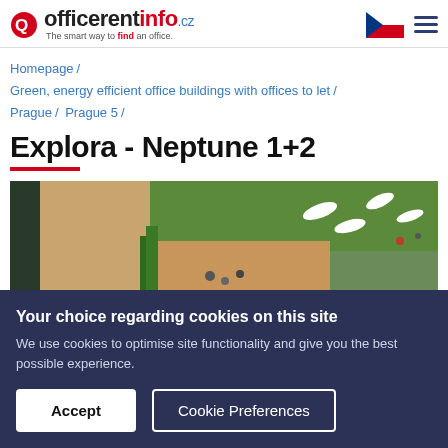officerentinfo.cz — The smart way to find an office.
Homepage / Green, energy efficient office buildings with offices to let / Prague / Prague 5 /
Explora - Neptune 1+2
[Figure (photo): Aerial/overhead view of modern office building complex with wooden terrace, green landscaping, lounge chairs, and people socializing outdoors.]
Your choice regarding cookies on this site
We use cookies to optimise site functionality and give you the best possible experience.
Accept | Cookie Preferences